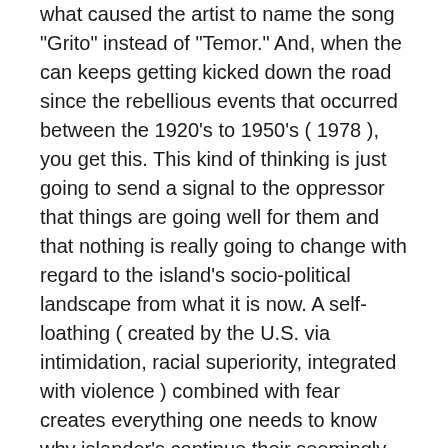what caused the artist to name the song "Grito" instead of "Temor." And, when the can keeps getting kicked down the road since the rebellious events that occurred between the 1920's to 1950's ( 1978 ), you get this. This kind of thinking is just going to send a signal to the oppressor that things are going well for them and that nothing is really going to change with regard to the island's socio-political landscape from what it is now. A self-loathing ( created by the U.S. via intimidation, racial superiority, integrated with violence ) combined with fear creates everything one needs to know why islander's continue their seemingly inexorable existence.
I heard a self described republican voting student attending UPR that he wants statehood